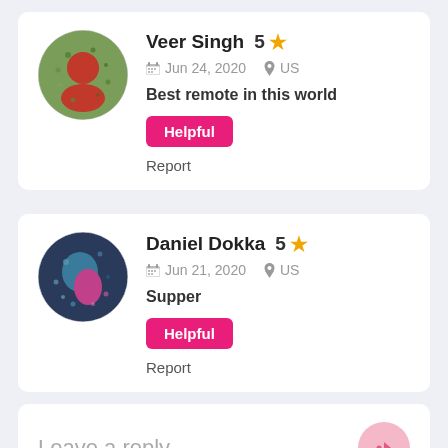Veer Singh  5 ★  Jun 24, 2020  US  Best remote in this world  Helpful  Report
[Figure (photo): Circular avatar photo of Veer Singh showing a person outdoors with greenery in the background]
Daniel Dokka  5 ★  Jun 21, 2020  US  Supper  Helpful  Report
[Figure (photo): Circular avatar photo of Daniel Dokka showing colorful artistic/neon background portrait]
Leave a reply